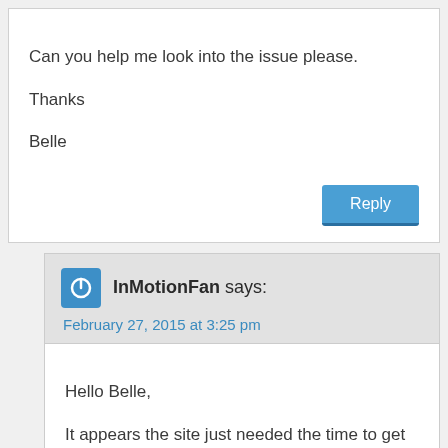Can you help me look into the issue please.

Thanks

Belle
Reply
InMotionFan says:
February 27, 2015 at 3:25 pm
Hello Belle,

It appears the site just needed the time to get rid of the cloudproxy cache and propagation to the server